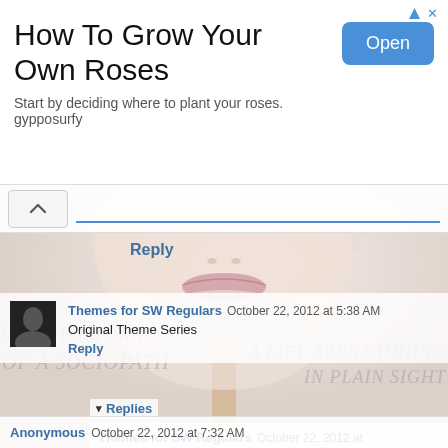[Figure (screenshot): Ad banner for 'How To Grow Your Own Roses' with Open button, from gypposurfy]
How To Grow Your Own Roses
Start by deciding where to plant your roses.
gypposurfy
[Figure (photo): Background image of a woman's face closeup with a lollipop, with watermark text 'Confessions of a Sociopath - A life spent hiding in plain sight']
Reply
Themes for SW Regulars October 22, 2012 at 5:38 AM
Original Theme Series
Reply
▾ Replies
Themes for SW Regulars October 22, 2012 at 5:40 AM
Theme for CEO Sociopathworld
Anonymous October 22, 2012 at 7:32 AM